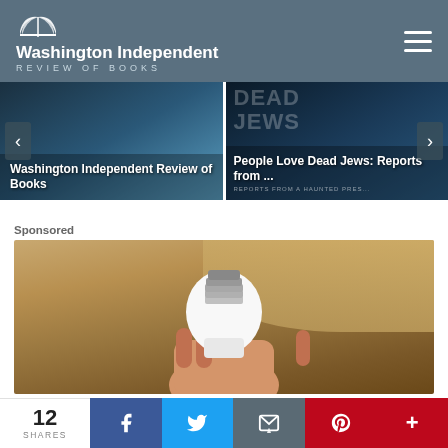Washington Independent REVIEW OF BOOKS
[Figure (screenshot): Carousel with two items: 'Washington Independent Review of Books' and 'People Love Dead Jews: Reports from ...']
Sponsored
[Figure (photo): A hand holding a white light bulb against a beige/tan background]
12 SHARES